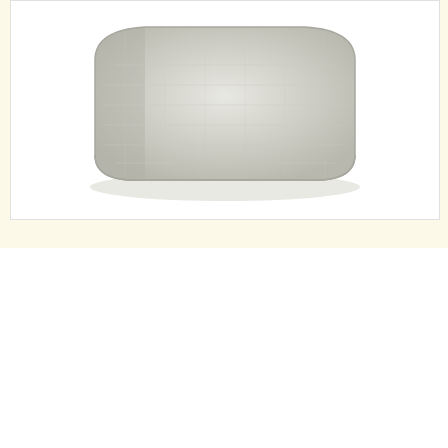[Figure (photo): A white/light grey rectangular pillow with a quilted/textured fabric cover, photographed on a light background.]
Utilizziamo cookie interni ed esterni per garantirti la migliore esperienza sul nostro sito web e per scopi statistici; Cliccando su "Accetta tutto", acconsenti all'uso di TUTTI i cookies. Vai su "impostazione cookies per personalizzare il tuo consenso.
Impostazione Cookies
Accetta Tutto